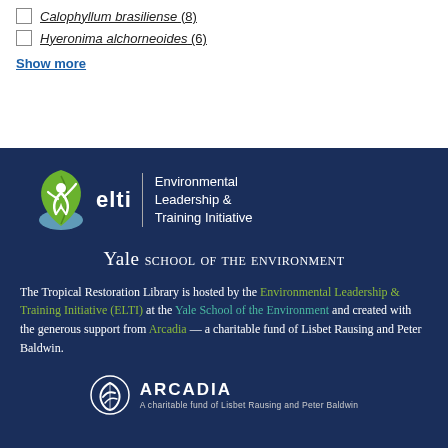Calophyllum brasiliense (8)
Hyeronima alchorneoides (6)
Show more
[Figure (logo): ELTI (Environmental Leadership & Training Initiative) logo with a green leaf and white figure, next to text 'elti | Environmental Leadership & Training Initiative']
Yale School of the Environment
The Tropical Restoration Library is hosted by the Environmental Leadership & Training Initiative (ELTI) at the Yale School of the Environment and created with the generous support from Arcadia — a charitable fund of Lisbet Rausing and Peter Baldwin.
[Figure (logo): Arcadia logo — white triangular swirl icon, bold white ARCADIA text, subtitle 'A charitable fund of Lisbet Rausing and Peter Baldwin']